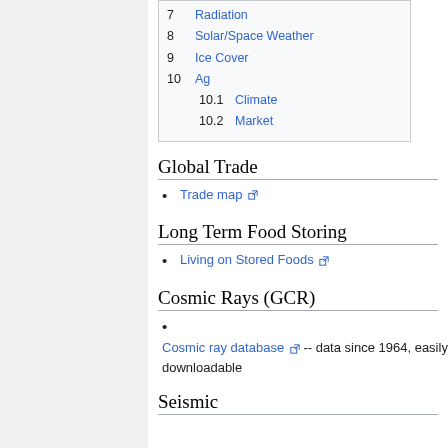7  Radiation
8  Solar/Space Weather
9  Ice Cover
10  Ag
10.1  Climate
10.2  Market
Global Trade
Trade map [ext link]
Long Term Food Storing
Living on Stored Foods [ext link]
Cosmic Rays (GCR)
Cosmic ray database [ext link] -- data since 1964, easily downloadable
Seismic